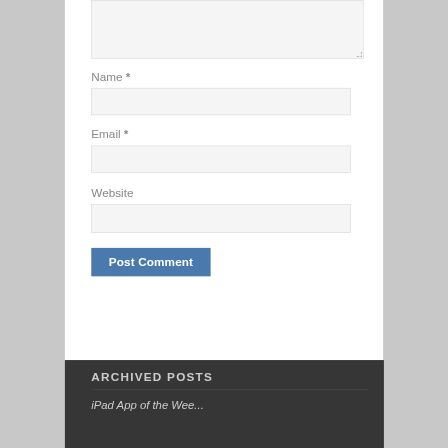Name *
Email *
Website
Post Comment
ARCHIVED POSTS